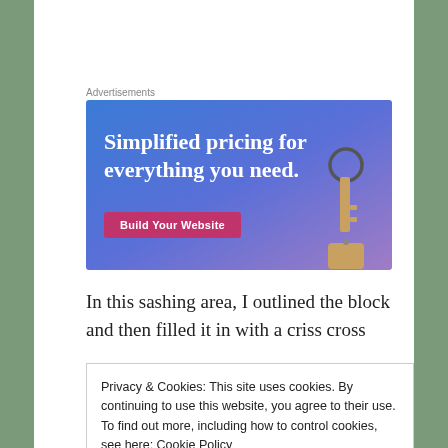Advertisements
[Figure (illustration): Advertisement banner with blue-purple gradient background, white bold text reading 'Simplified pricing for everything you need.', a pink 'Build Your Website' button, and a decorative key image on the right side.]
In this sashing area, I outlined the block and then filled it in with a criss cross
Privacy & Cookies: This site uses cookies. By continuing to use this website, you agree to their use.
To find out more, including how to control cookies, see here: Cookie Policy
Close and accept
Robb